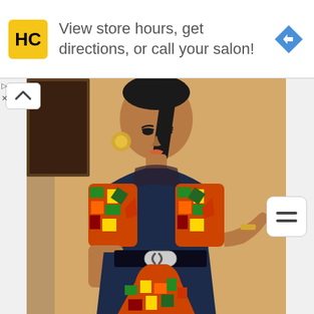[Figure (screenshot): Advertisement banner with HC (Hair Club) logo in yellow square, text reading 'View store hours, get directions, or call your salon!' with a blue navigation arrow icon on the right]
[Figure (photo): A woman wearing a navy blue dress with colorful African ankara print sleeves and hem detail, sheer mesh neckline, decorative belt buckle, gold jewelry including earrings, necklace and bracelet, with sleek pulled-back hair, posed against a beige wall]